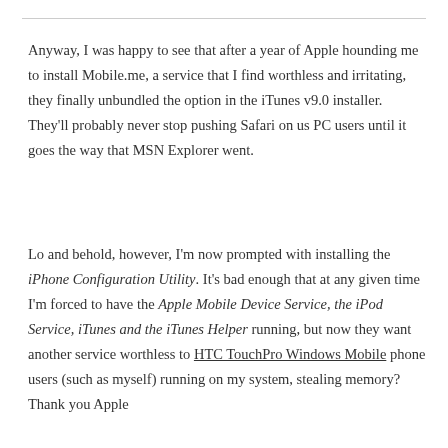Anyway, I was happy to see that after a year of Apple hounding me to install Mobile.me, a service that I find worthless and irritating, they finally unbundled the option in the iTunes v9.0 installer. They'll probably never stop pushing Safari on us PC users until it goes the way that MSN Explorer went.
Lo and behold, however, I'm now prompted with installing the iPhone Configuration Utility. It's bad enough that at any given time I'm forced to have the Apple Mobile Device Service, the iPod Service, iTunes and the iTunes Helper running, but now they want another service worthless to HTC TouchPro Windows Mobile phone users (such as myself) running on my system, stealing memory? Thank you Apple